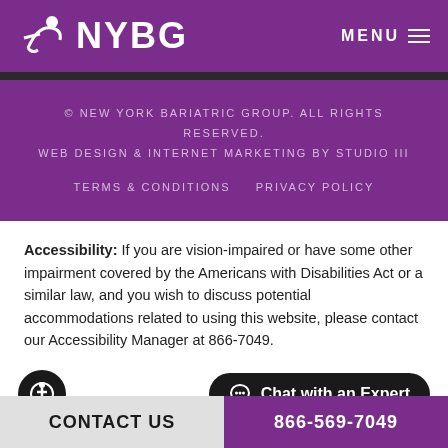NYBG
© NEW YORK BARIATRIC GROUP. ALL RIGHTS RESERVED. WEB DESIGN & INTERNET MARKETING BY STUDIO III
TERMS & CONDITIONS   PRIVACY POLICY
Accessibility: If you are vision-impaired or have some other impairment covered by the Americans with Disabilities Act or a similar law, and you wish to discuss potential accommodations related to using this website, please contact our Accessibility Manager at 866-7049.
CONTACT US   866-569-7049